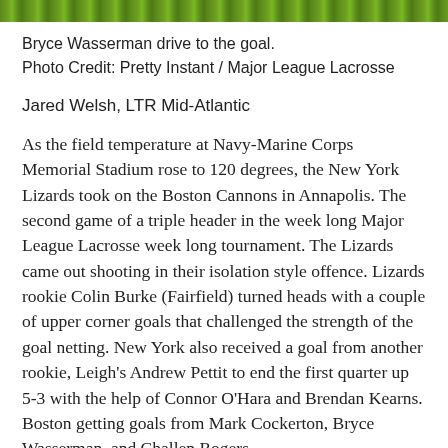[Figure (photo): Green grass/turf field surface strip at the top of the page]
Bryce Wasserman drive to the goal.
Photo Credit: Pretty Instant / Major League Lacrosse
Jared Welsh, LTR Mid-Atlantic
As the field temperature at Navy-Marine Corps Memorial Stadium rose to 120 degrees, the New York Lizards took on the Boston Cannons in Annapolis. The second game of a triple header in the week long Major League Lacrosse week long tournament. The Lizards came out shooting in their isolation style offence. Lizards rookie Colin Burke (Fairfield) turned heads with a couple of upper corner goals that challenged the strength of the goal netting. New York also received a goal from another rookie, Leigh's Andrew Pettit to end the first quarter up 5-3 with the help of Connor O'Hara and Brendan Kearns. Boston getting goals from Mark Cockerton, Bryce Wasserman, and Challen Rogers.